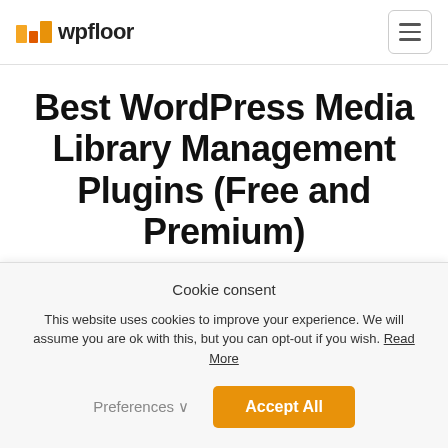wpfloor
Best WordPress Media Library Management Plugins (Free and Premium)
Cookie consent
This website uses cookies to improve your experience. We will assume you are ok with this, but you can opt-out if you wish. Read More
Preferences ⌄   Accept All